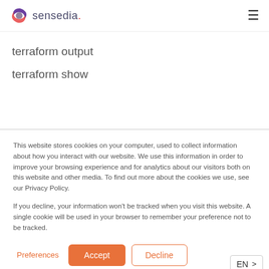sensedia. [hamburger menu]
terraform output
terraform show
This website stores cookies on your computer, used to collect information about how you interact with our website. We use this information in order to improve your browsing experience and for analytics about our visitors both on this website and other media. To find out more about the cookies we use, see our Privacy Policy.
If you decline, your information won't be tracked when you visit this website. A single cookie will be used in your browser to remember your preference not to be tracked.
Preferences  Accept  Decline  EN >